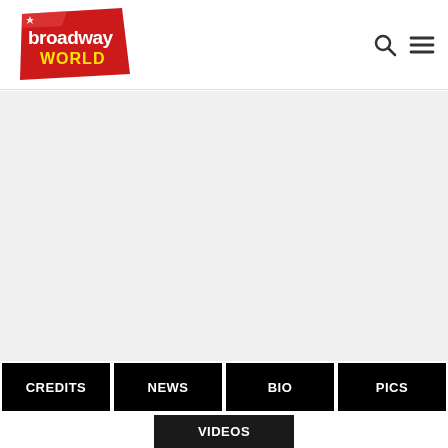[Figure (logo): BroadwayWorld logo — red diagonal banner shape with 'broadway' in white bold text and 'WORLD' in yellow bold text below]
[Figure (other): Search icon (magnifying glass) and hamburger menu icon in the top-right header area]
[Figure (other): Large gray placeholder content area]
CREDITS
NEWS
BIO
PICS
VIDEOS